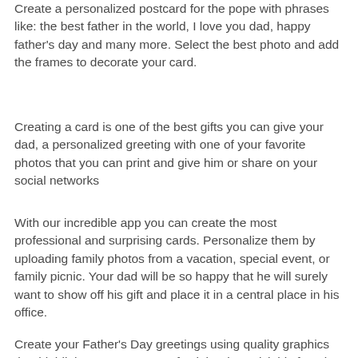Create a personalized postcard for the pope with phrases like: the best father in the world, I love you dad, happy father's day and many more. Select the best photo and add the frames to decorate your card.
Creating a card is one of the best gifts you can give your dad, a personalized greeting with one of your favorite photos that you can print and give him or share on your social networks
With our incredible app you can create the most professional and surprising cards. Personalize them by uploading family photos from a vacation, special event, or family picnic. Your dad will be so happy that he will surely want to show off his gift and place it in a central place in his office.
Create your Father's Day greetings using quality graphics that highlight your message of celebration. Pick his favorite color